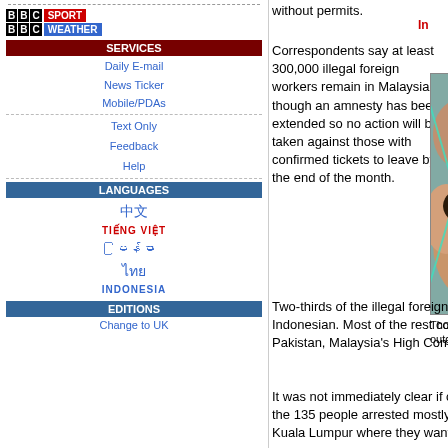without permits.
BBC SPORT
BBC WEATHER
SERVICES
Daily E-mail
News Ticker
Mobile/PDAs
Text Only
Feedback
Help
LANGUAGES
中文
TIẾNG VIỆT
မြန်မာ
ไทย
INDONESIA
EDITIONS
Change to UK
Correspondents say at least 300,000 illegal foreign workers remain in Malaysia, though an amnesty has been extended so no action will be taken against those with confirmed tickets to leave by the end of the month.
[Figure (photo): Thousands of people waiting behind a chain-link fence, crowded together]
Thousands of people waited for outgoing ferries before the deadline
Two-thirds of the illegal foreign workers are thought to be Indonesian. Most of the rest come from Bangladesh, India or Pakistan, Malaysia's High Commission in London said.
It was not immediately clear if charges would be brought against the 135 people arrested mostly outside a United Nations office in Kuala Lumpur where they wanted to claim asylum.
A police spokesman said that decision would be taken by immigration officials.
"They are mostly Rohingyas from Myanmar [Burma], Acehnese and other Indonesians," he said.